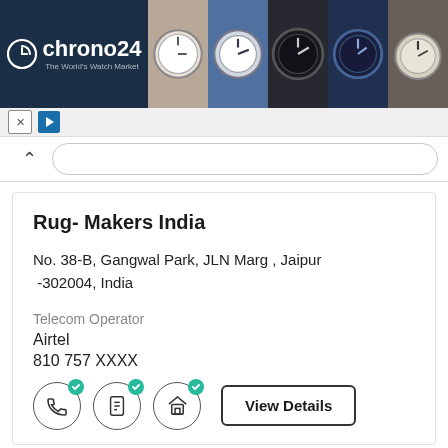[Figure (screenshot): Chrono24 advertisement banner with logo on dark background and watch photos on the right]
Rug- Makers India
No. 38-B, Gangwal Park, JLN Marg , Jaipur -302004, India
Telecom Operator
Airtel
810 757 XXXX
[Figure (infographic): Three verified icons (phone, document, house) and a View Details button]
State
RAJASTHAN